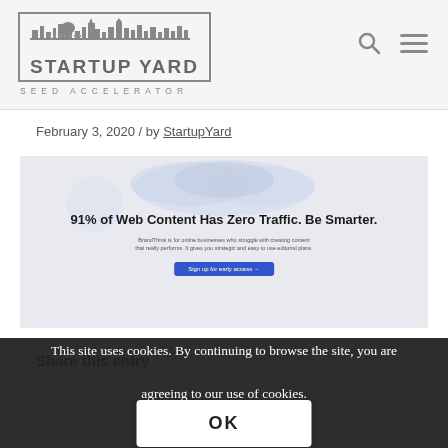StartupYard Seed Accelerator — logo with navigation icons
February 3, 2020 / by StartupYard
[Figure (screenshot): Screenshot of a web page with headline '91% of Web Content Has Zero Traffic. Be Smarter.' with decorative circles, descriptive text, and a 'Sign up for early access' button on a light background.]
This site uses cookies. By continuing to browse the site, you are agreeing to our use of cookies.
OK
Share this entry